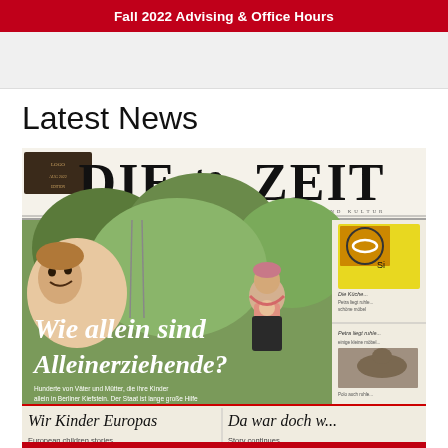Fall 2022 Advising & Office Hours
Latest News
[Figure (photo): A photograph of the front page of the German newspaper 'Die Zeit', showing the headline 'Wie allein sind Alleinerziehende?' with a photo of a woman carrying a baby in a sling and a smiling child. The bottom of the page shows additional article teasers including 'Wir Kinder Europas' and 'Da war doch w...']